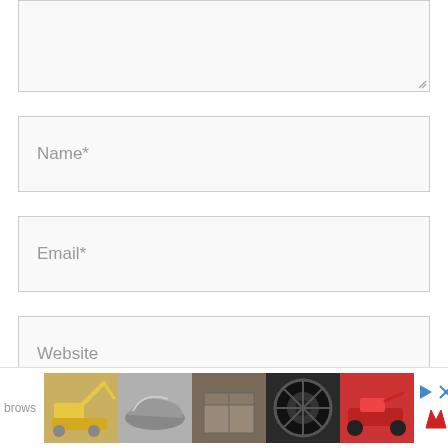[Figure (screenshot): Top portion of a web comment form showing a partially visible textarea with resize handle at bottom-right]
Name*
Email*
Website
Save my name, email, and website in this
[Figure (infographic): Bottom advertisement bar showing partial text 'brows', followed by thumbnail images of excavators, a shoe, boxes, a tire/wheel, a go-kart, and ad control icons including play, close, and a logo, plus a scroll-to-top dark button]